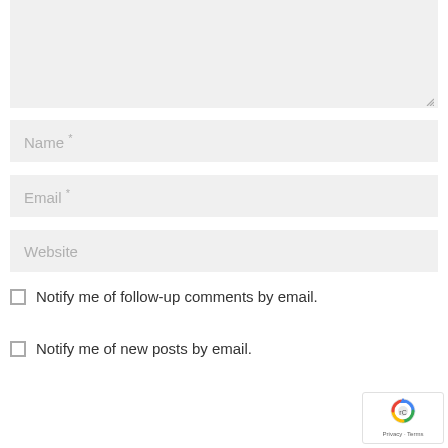[Figure (screenshot): Textarea input field with light gray background and resize handle in bottom-right corner]
Name *
Email *
Website
Notify me of follow-up comments by email.
Notify me of new posts by email.
[Figure (logo): reCAPTCHA badge with Google logo, Privacy and Terms links]